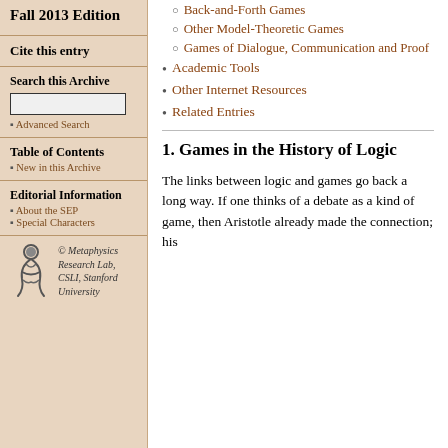Back-and-Forth Games
Other Model-Theoretic Games
Games of Dialogue, Communication and Proof
Academic Tools
Other Internet Resources
Related Entries
Fall 2013 Edition
Cite this entry
Search this Archive
Advanced Search
Table of Contents
New in this Archive
Editorial Information
About the SEP
Special Characters
[Figure (logo): Metaphysics Research Lab, CSLI, Stanford University logo with stylized figure]
1. Games in the History of Logic
The links between logic and games go back a long way. If one thinks of a debate as a kind of game, then Aristotle already made the connection; his